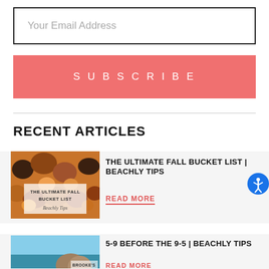Your Email Address
SUBSCRIBE
RECENT ARTICLES
[Figure (photo): Pumpkins with overlay text reading 'THE ULTIMATE FALL BUCKET LIST, Beachly Tips']
THE ULTIMATE FALL BUCKET LIST | BEACHLY TIPS
READ MORE
[Figure (photo): Beach/ocean scene with text overlay 'BROOKE'S']
5-9 BEFORE THE 9-5 | BEACHLY TIPS
READ MORE